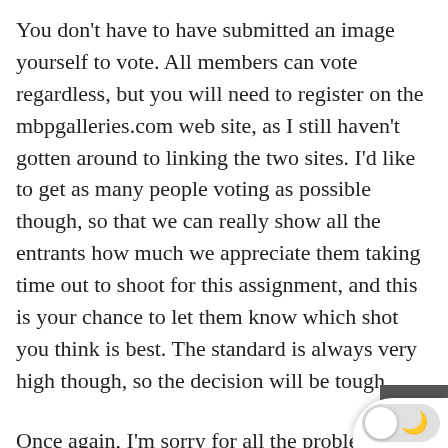You don't have to have submitted an image yourself to vote. All members can vote regardless, but you will need to register on the mbpgalleries.com web site, as I still haven't gotten around to linking the two sites. I'd like to get as many people voting as possible though, so that we can really show all the entrants how much we appreciate them taking time out to shoot for this assignment, and this is your chance to let them know which shot you think is best. The standard is always very high though, so the decision will be tough.
Once again, I'm sorry for all the problems with the site recently. Please do stay subscribed. Things will be back to normal very soon. So have a week, whether you're out shooting or whatever